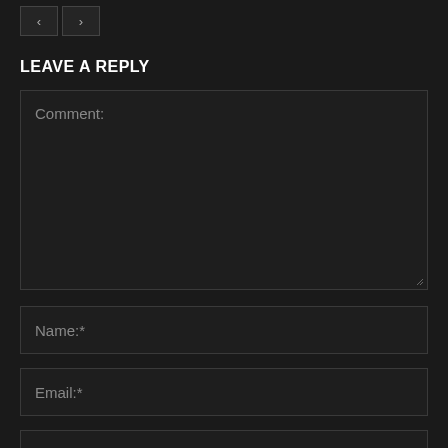[Figure (screenshot): Navigation previous and next arrow buttons on dark background]
LEAVE A REPLY
Comment:
Name:*
Email:*
Website: